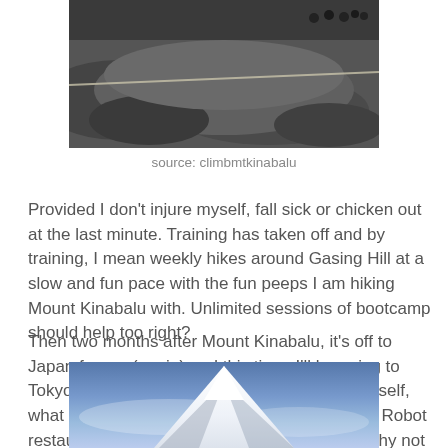[Figure (photo): Hikers on rocky mountain terrain with a rope guide line, Mt Kinabalu]
source: climbmtkinabalu
Provided I don't injure myself, fall sick or chicken out at the last minute. Training has taken off and by training, I mean weekly hikes around Gasing Hill at a slow and fun pace with the fun peeps I am hiking Mount Kinabalu with. Unlimited sessions of bootcamp should help too right?
Then two months after Mount Kinabalu, it's off to Japan for me (again) and this time, I'll be going to Tokyo for the first time ever. So I thought to myself, what can I do in Japan that is out of this world. Robot restaurants come to mind but then I thought, why not visit Mount Fuji. And by visit, I mean hike up.
[Figure (photo): Aerial or distant view of Mount Fuji with snow-capped peak and purple-blue sky]